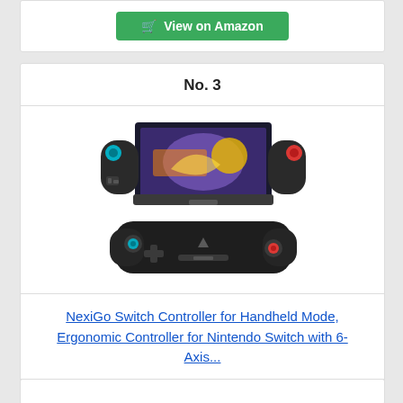[Figure (other): Green 'View on Amazon' button with shopping cart icon, top of page (partial card)]
No. 3
[Figure (photo): NexiGo Switch Controller for Handheld Mode - two views: one showing the controller gripping a Nintendo Switch console with colorful game on screen, another showing the controller alone (black, with red thumbstick on right, teal on left)]
NexiGo Switch Controller for Handheld Mode, Ergonomic Controller for Nintendo Switch with 6-Axis...
[Figure (other): Green 'View on Amazon' button with shopping cart icon]
[Figure (other): Bottom partial card]